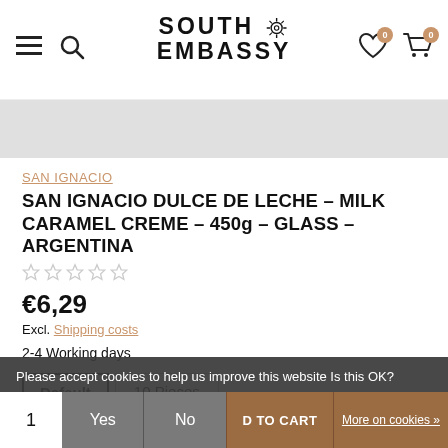SOUTH EMBASSY
[Figure (screenshot): Gray image placeholder banner]
SAN IGNACIO
SAN IGNACIO DULCE DE LECHE – MILK CARAMEL CREME – 450g – GLASS – ARGENTINA
[Figure (other): Five empty star rating icons]
€6,29
Excl. Shipping costs
2-4 Working days
Default  10 Pieces
Please accept cookies to help us improve this website Is this OK?
1  Yes  No  D TO CART  More on cookies »